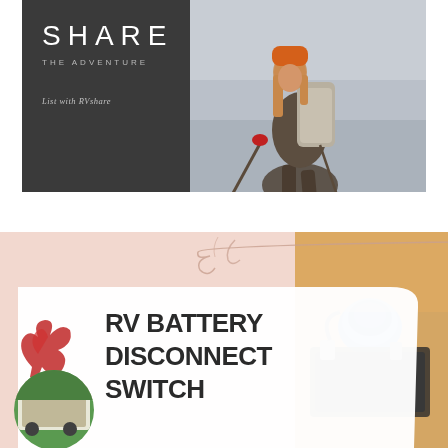[Figure (illustration): Top advertisement banner for RVshare. Dark gray left panel with 'SHARE THE ADVENTURE List with RVshare' text, right side shows a woman with large hiking backpack, orange hat, and trekking poles against a blurred background.]
[Figure (infographic): Bottom advertisement banner with pink/salmon background. White card overlay with bold text 'RV BATTERY DISCONNECT SWITCH'. Bottom left has circular RV photo and red floral illustration. Top right has beige floral decoration. Right side shows a car battery with blue connector cap.]